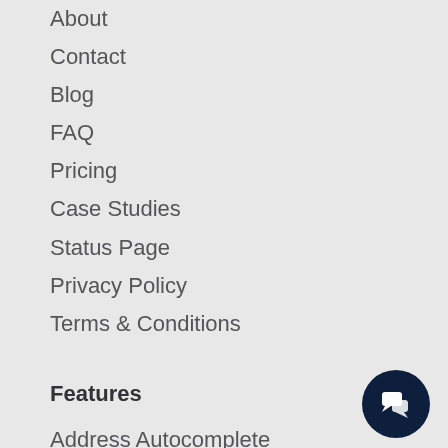About
Contact
Blog
FAQ
Pricing
Case Studies
Status Page
Privacy Policy
Terms & Conditions
Features
Address Autocomplete
Address Verification
Address Metadata
Geocode Addresses
Reverse Address Lookup
Points of Interest